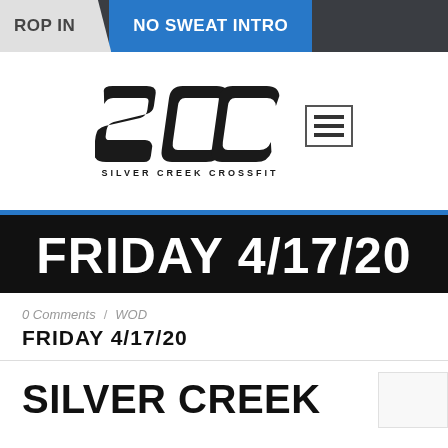DROP IN / NO SWEAT INTRO
[Figure (logo): Silver Creek CrossFit logo with SCC stylized text and hamburger menu icon]
FRIDAY 4/17/20
0 Comments / WOD
FRIDAY 4/17/20
SILVER CREEK